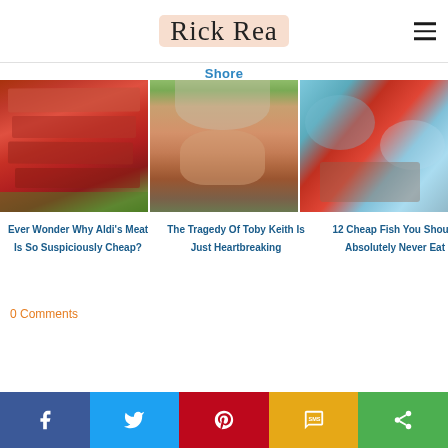Rick Rea
Shore
[Figure (photo): Stack of raw red meat slices on a cutting board with green background]
Ever Wonder Why Aldi's Meat Is So Suspiciously Cheap?
[Figure (photo): Smiling man with beard and white cap outdoors]
The Tragedy Of Toby Keith Is Just Heartbreaking
[Figure (photo): Multiple fresh fish with colorful scales arranged together]
12 Cheap Fish You Should Absolutely Never Eat
0 Comments
Share buttons: Facebook, Twitter, Pinterest, SMS, Share